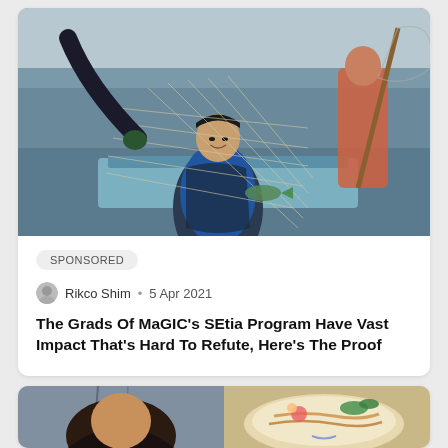[Figure (photo): Fishermen on a boat pulling in a fish net, with ocean in the background. One man is smiling and holding up a large fish tangled in the net.]
SPONSORED
Rikco Shim • 5 Apr 2021
The Grads Of MaGIC's SEtia Program Have Vast Impact That's Hard To Refute, Here's The Proof
[Figure (photo): Two images side by side: left shows a person's face partially visible, right shows a bowl of food (noodles/ramen with decorative elements).]